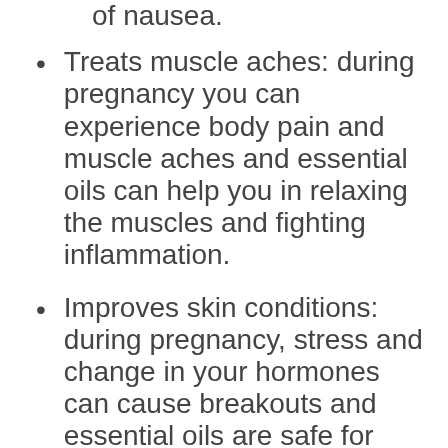of nausea.
Treats muscle aches: during pregnancy you can experience body pain and muscle aches and essential oils can help you in relaxing the muscles and fighting inflammation.
Improves skin conditions:  during pregnancy, stress and change in your hormones can cause breakouts and essential oils are safe for topical application